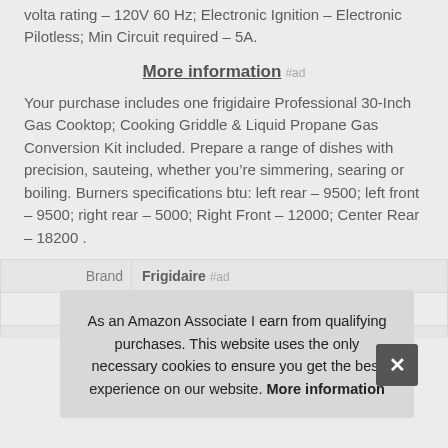volta rating – 120V 60 Hz; Electronic Ignition – Electronic Pilotless; Min Circuit required – 5A.
More information #ad
Your purchase includes one frigidaire Professional 30-Inch Gas Cooktop; Cooking Griddle & Liquid Propane Gas Conversion Kit included. Prepare a range of dishes with precision, sauteing, whether you're simmering, searing or boiling. Burners specifications btu: left rear – 9500; left front – 9500; right rear – 5000; Right Front – 12000; Center Rear – 18200 .
|  |  |
| --- | --- |
| Brand | Frigidaire #ad |
| Ma |  |
As an Amazon Associate I earn from qualifying purchases. This website uses the only necessary cookies to ensure you get the best experience on our website. More information